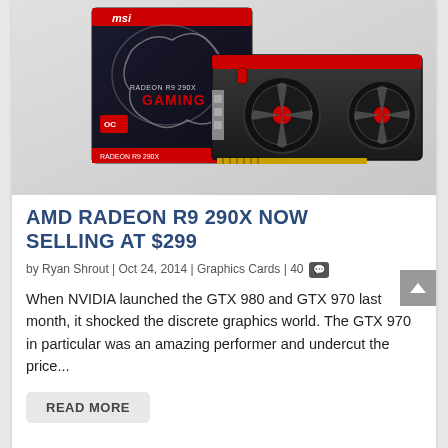[Figure (photo): MSI Radeon R9 290X Gaming graphics card shown next to its product box. The box features a dragon logo and 'GAMING' text in red. The card shows dual fans with MSI branding.]
AMD RADEON R9 290X NOW SELLING AT $299
by Ryan Shrout | Oct 24, 2014 | Graphics Cards | 40
When NVIDIA launched the GTX 980 and GTX 970 last month, it shocked the discrete graphics world. The GTX 970 in particular was an amazing performer and undercut the price...
READ MORE